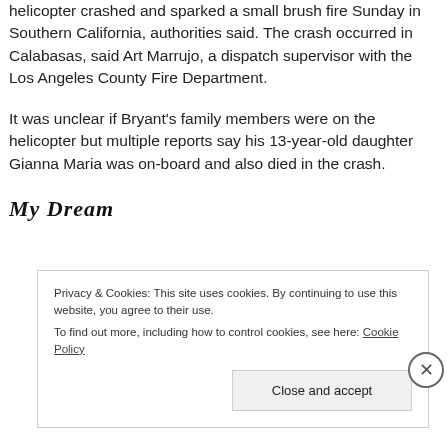helicopter crashed and sparked a small brush fire Sunday in Southern California, authorities said. The crash occurred in Calabasas, said Art Marrujo, a dispatch supervisor with the Los Angeles County Fire Department.
It was unclear if Bryant's family members were on the helicopter but multiple reports say his 13-year-old daughter Gianna Maria was on-board and also died in the crash.
My Dream
Privacy & Cookies: This site uses cookies. By continuing to use this website, you agree to their use.
To find out more, including how to control cookies, see here: Cookie Policy